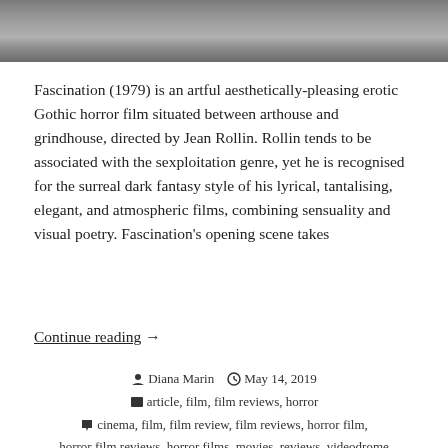[Figure (photo): Grayscale photo strip showing a rocky or textured outdoor landscape, cropped at the top of the page]
Fascination (1979) is an artful aesthetically-pleasing erotic Gothic horror film situated between arthouse and grindhouse, directed by Jean Rollin. Rollin tends to be associated with the sexploitation genre, yet he is recognised for the surreal dark fantasy style of his lyrical, tantalising, elegant, and atmospheric films, combining sensuality and visual poetry. Fascination's opening scene takes
Continue reading  →
Diana Marin   May 14, 2019
article, film, film reviews, horror
cinema, film, film review, film reviews, horror film, horror film reviews, horror films, movies, reviews, videodrome
1 Comment